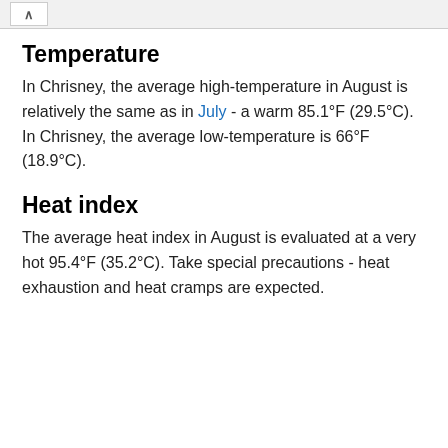Temperature
In Chrisney, the average high-temperature in August is relatively the same as in July - a warm 85.1°F (29.5°C). In Chrisney, the average low-temperature is 66°F (18.9°C).
Heat index
The average heat index in August is evaluated at a very hot 95.4°F (35.2°C). Take special precautions - heat exhaustion and heat cramps are expected.